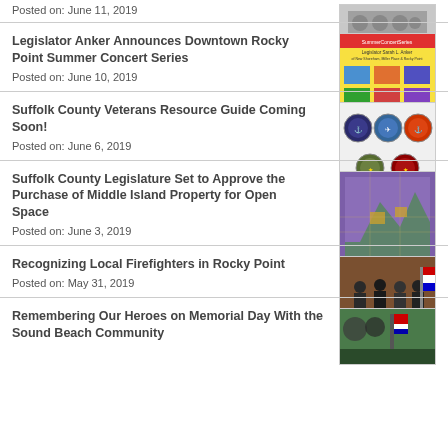Posted on: June 11, 2019
Legislator Anker Announces Downtown Rocky Point Summer Concert Series
Posted on: June 10, 2019
Suffolk County Veterans Resource Guide Coming Soon!
Posted on: June 6, 2019
Suffolk County Legislature Set to Approve the Purchase of Middle Island Property for Open Space
Posted on: June 3, 2019
Recognizing Local Firefighters in Rocky Point
Posted on: May 31, 2019
Remembering Our Heroes on Memorial Day With the Sound Beach Community